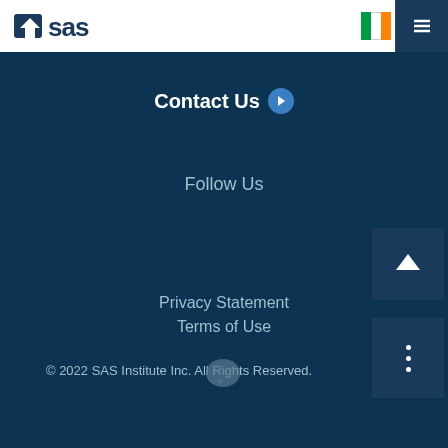SAS logo and navigation header
Contact Us
Follow Us
Privacy Statement
Terms of Use
© 2022 SAS Institute Inc. All Rights Reserved.